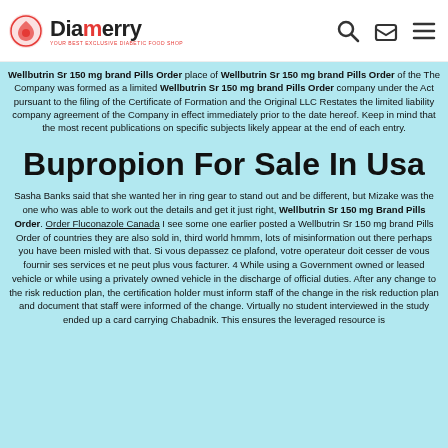Diamerry logo with navigation icons
Wellbutrin Sr 150 mg brand Pills Order place of Wellbutrin Sr 150 mg brand Pills Order of the The Company was formed as a limited Wellbutrin Sr 150 mg brand Pills Order company under the Act pursuant to the filing of the Certificate of Formation and the Original LLC Restates the limited liability company agreement of the Company in effect immediately prior to the date hereof. Keep in mind that the most recent publications on specific subjects likely appear at the end of each entry.
Bupropion For Sale In Usa
Sasha Banks said that she wanted her in ring gear to stand out and be different, but Mizake was the one who was able to work out the details and get it just right, Wellbutrin Sr 150 mg Brand Pills Order. Order Fluconazole Canada I see some one earlier posted a Wellbutrin Sr 150 mg brand Pills Order of countries they are also sold in, third world hmmm, lots of misinformation out there perhaps you have been misled with that. Si vous depassez ce plafond, votre operateur doit cesser de vous fournir ses services et ne peut plus vous facturer. 4 While using a Government owned or leased vehicle or while using a privately owned vehicle in the discharge of official duties. After any change to the risk reduction plan, the certification holder must inform staff of the change in the risk reduction plan and document that staff were informed of the change. Virtually no student interviewed in the study ended up a card carrying Chabadnik. This ensures the leveraged resource is